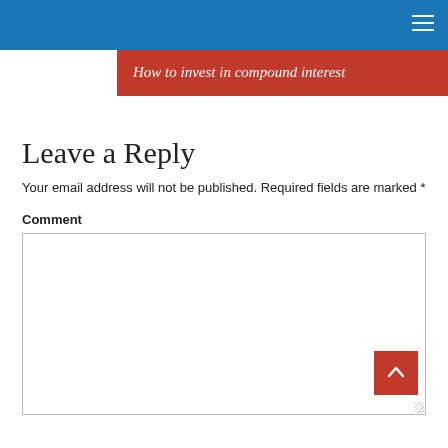How to invest in compound interest
Leave a Reply
Your email address will not be published. Required fields are marked *
Comment